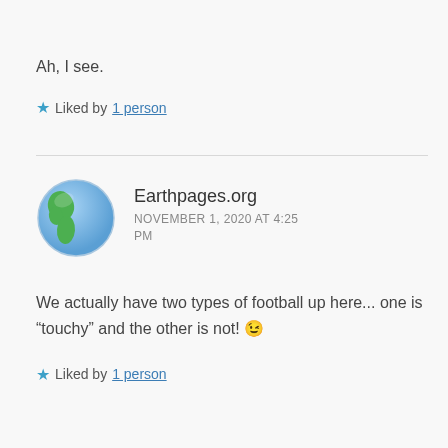Ah, I see.
★ Liked by 1 person
Earthpages.org
NOVEMBER 1, 2020 AT 4:25 PM
We actually have two types of football up here... one is “touchy” and the other is not! 😉
★ Liked by 1 person